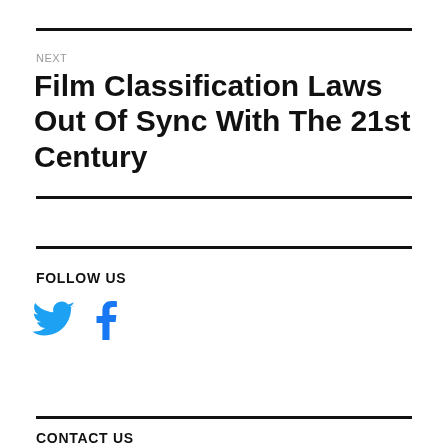NEXT
Film Classification Laws Out Of Sync With The 21st Century
FOLLOW US
[Figure (illustration): Twitter bird icon and Facebook 'f' icon in blue, representing social media links]
CONTACT US